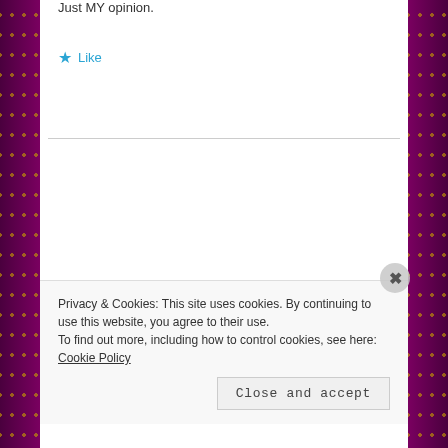Just MY opinion.
★ Like
FELICIA
June 9, 2012 at 11:55 AM
this is hot a mess. . . .
Privacy & Cookies: This site uses cookies. By continuing to use this website, you agree to their use.
To find out more, including how to control cookies, see here: Cookie Policy
Close and accept